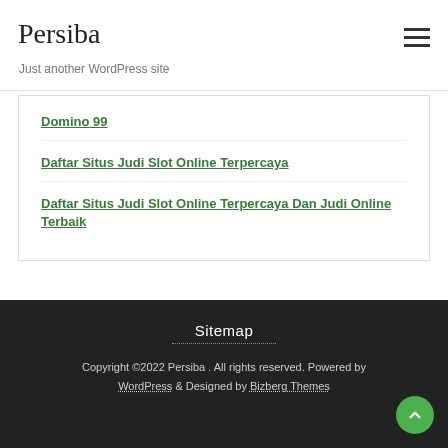Persiba
Just another WordPress site
Domino 99
Daftar Situs Judi Slot Online Terpercaya
Daftar Situs Judi Slot Online Terpercaya Dan Judi Online Terbaik
Sitemap
Copyright ©2022 Persiba . All rights reserved. Powered by WordPress & Designed by Bizberg Themes